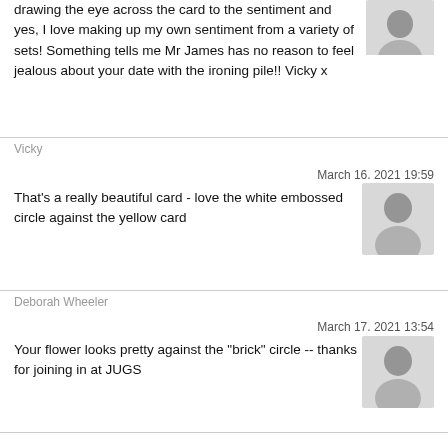drawing the eye across the card to the sentiment and yes, I love making up my own sentiment from a variety of sets! Something tells me Mr James has no reason to feel jealous about your date with the ironing pile!! Vicky x
Vicky
March 16. 2021 19:59
That's a really beautiful card - love the white embossed circle against the yellow card
Deborah Wheeler
March 17. 2021 13:54
Your flower looks pretty against the "brick" circle -- thanks for joining in at JUGS